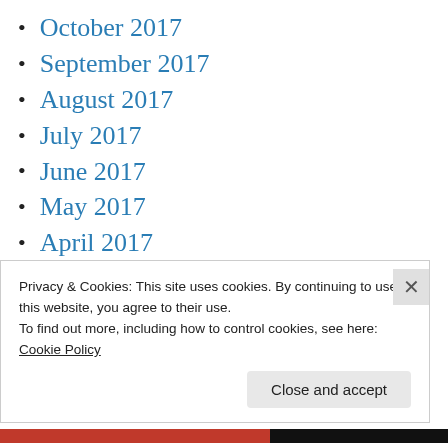October 2017
September 2017
August 2017
July 2017
June 2017
May 2017
April 2017
March 2017
February 2017
January 2017
December 2016
Privacy & Cookies: This site uses cookies. By continuing to use this website, you agree to their use.
To find out more, including how to control cookies, see here:
Cookie Policy
Close and accept